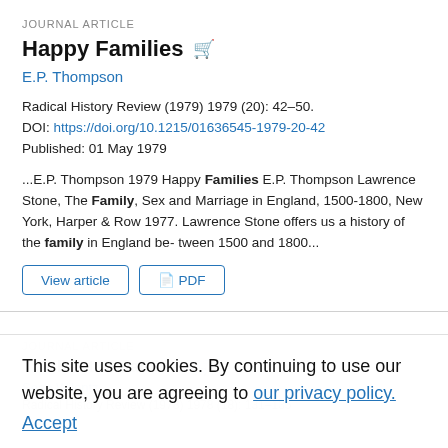JOURNAL ARTICLE
Happy Families
E.P. Thompson
Radical History Review (1979) 1979 (20): 42–50.
DOI: https://doi.org/10.1215/01636545-1979-20-42
Published: 01 May 1979
...E.P. Thompson 1979 Happy Families E.P. Thompson Lawrence Stone, The Family, Sex and Marriage in England, 1500-1800, New York, Harper & Row 1977. Lawrence Stone offers us a history of the family in England be- tween 1500 and 1800...
JOURNAL ARTICLE
The Best of Families
Sean Wilentz
Radical History Review (1978) 1978 (18): 131–135
This site uses cookies. By continuing to use our website, you are agreeing to our privacy policy. Accept